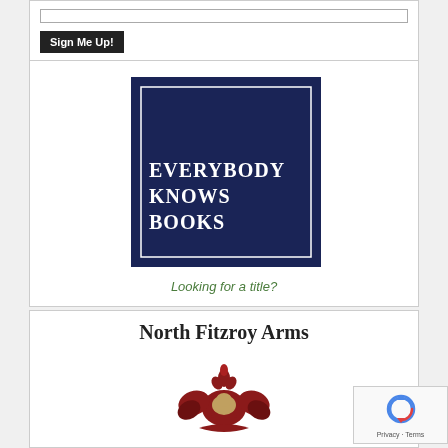[Figure (screenshot): Email input bar and Sign Me Up button in a white box]
[Figure (logo): Everybody Knows Books logo — dark navy square with white text reading EVERYBODY KNOWS BOOKS]
Looking for a title?
[Figure (logo): North Fitzroy Arms logo with decorative heraldic crest in red]
[Figure (logo): reCAPTCHA badge with Privacy and Terms text]